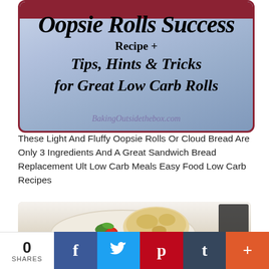[Figure (photo): Oopsie Rolls Success Recipe + Tips, Hints & Tricks for Great Low Carb Rolls - BakingOutsidethebox.com card image with dark red border on blue-grey background]
These Light And Fluffy Oopsie Rolls Or Cloud Bread Are Only 3 Ingredients And A Great Sandwich Bread Replacement Ult Low Carb Meals Easy Food Low Carb Recipes
[Figure (photo): Photo of oopsie rolls / cloud bread on a plate with tomatoes and greens]
0 SHARES | Facebook | Twitter | Pinterest | Tumblr | More